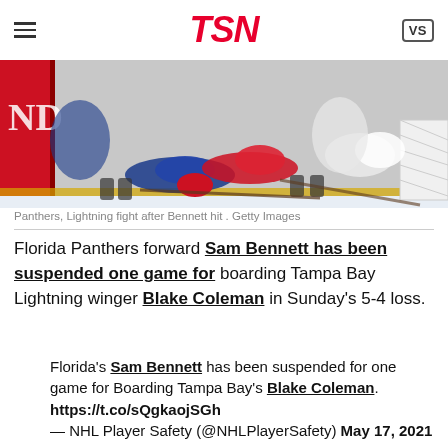TSN
[Figure (photo): Hockey players from Panthers and Lightning on the ice after Bennett hit, some players on the ground near boards]
Panthers, Lightning fight after Bennett hit . Getty Images
Florida Panthers forward Sam Bennett has been suspended one game for boarding Tampa Bay Lightning winger Blake Coleman in Sunday's 5-4 loss.
Florida's Sam Bennett has been suspended for one game for Boarding Tampa Bay's Blake Coleman. https://t.co/sQgkaojSGh — NHL Player Safety (@NHLPlayerSafety) May 17, 2021